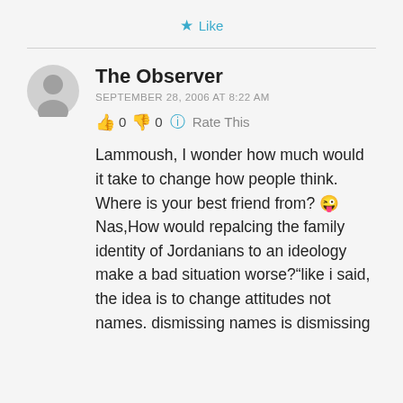★ Like
The Observer
SEPTEMBER 28, 2006 AT 8:22 AM
👍 0 👎 0 ℹ️ Rate This
Lammoush, I wonder how much would it take to change how people think. Where is your best friend from? 😜Nas,How would repalcing the family identity of Jordanians to an ideology make a bad situation worse?"like i said, the idea is to change attitudes not names. dismissing names is dismissing